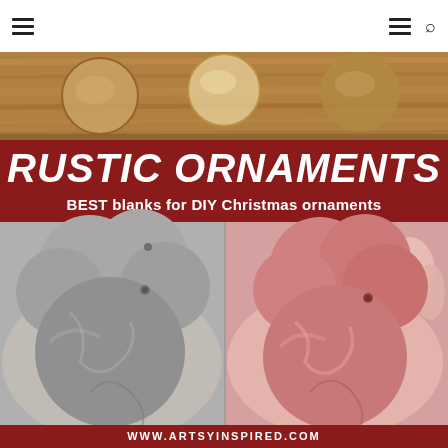Navigation bar with hamburger menu and search icon
[Figure (photo): Website screenshot showing rustic ornaments article. Top portion: wooden ornament blanks on wood surface. Middle: dark red banner with 'RUSTIC ORNAMENTS' in large italic white text and 'BEST blanks for DIY Christmas ornaments' subtitle. Bottom portion: two hands holding ornament blanks - left hand with gray marbled round ornament blank, right hand with pink/red marbled round ornament blank. Bottom red strip with www.artsyinspired.com URL.]
www.artsyinspired.com